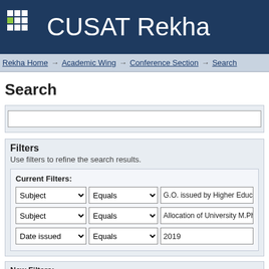CUSAT Rekha
Rekha Home → Academic Wing → Conference Section → Search
Search
Filters
Use filters to refine the search results.
Current Filters:
Subject | Equals | G.O. issued by Higher Education Department
Subject | Equals | Allocation of University M.Phil Scholarships
Date issued | Equals | 2019
New Filters:
Title | Contains